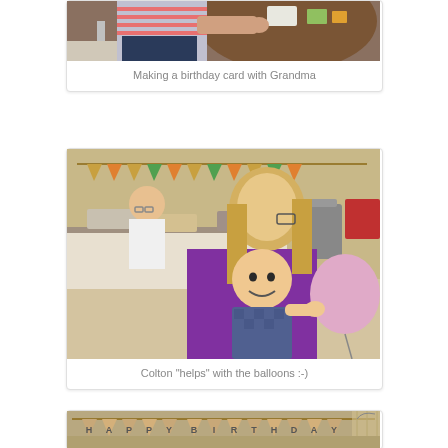[Figure (photo): Partial photo of a person in a striped shirt leaning over a brown table, with craft supplies, viewed from above. Top portion cut off.]
Making a birthday card with Grandma
[Figure (photo): A woman in a purple top holding a smiling baby in a patterned outfit. The baby is reaching toward a pink balloon. Another woman is visible in the background near a table with party supplies. Birthday bunting is visible in the background.]
Colton "helps" with the balloons :-)
[Figure (photo): Partial view of a room with a HAPPY BIRTHDAY burlap banner bunting hanging across the top. Partial image cut off at bottom of page.]